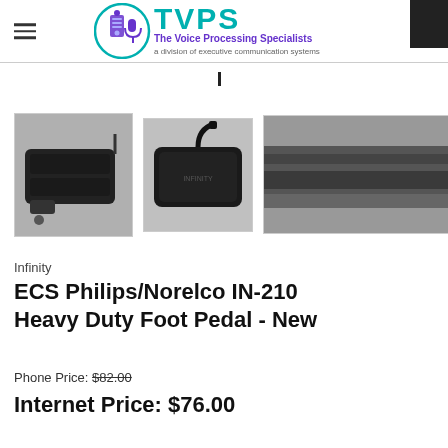[Figure (logo): TVPS - The Voice Processing Specialists, a division of executive communication systems logo with circular icon]
[Figure (photo): Three product photos of the ECS Philips/Norelco IN-210 Heavy Duty Foot Pedal: front view, top view, side/detail view]
Infinity
ECS Philips/Norelco IN-210 Heavy Duty Foot Pedal - New
Phone Price: $82.00
Internet Price: $76.00